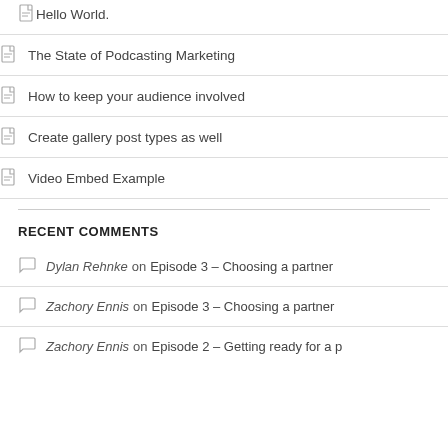The State of Podcasting Marketing
How to keep your audience involved
Create gallery post types as well
Video Embed Example
RECENT COMMENTS
Dylan Rehnke on Episode 3 – Choosing a partner
Zachory Ennis on Episode 3 – Choosing a partner
Zachory Ennis on Episode 2 – Getting ready for a p…